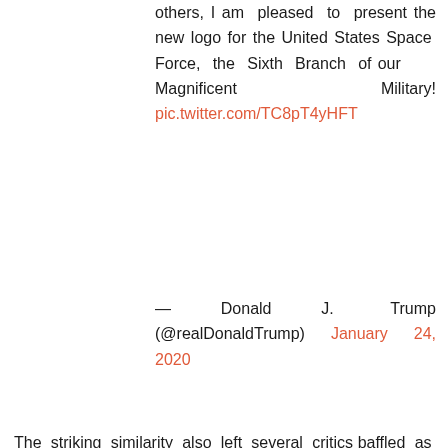others, I am pleased to present the new logo for the United States Space Force, the Sixth Branch of our Magnificent Military! pic.twitter.com/TC8pT4yHFT
— Donald J. Trump (@realDonaldTrump) January 24, 2020
The striking similarity also left several critics baffled as if they had been annihilated by Captain Kirk's phaser.
Additionally, several Twitter users also